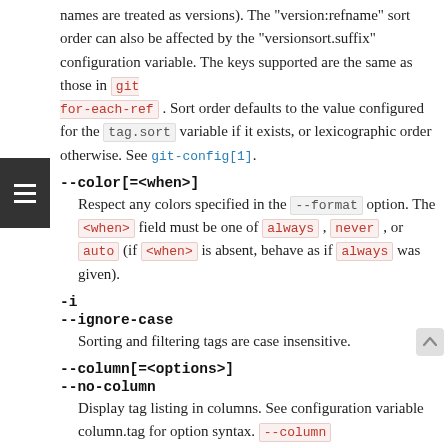names are treated as versions). The "version:refname" sort order can also be affected by the "versionsort.suffix" configuration variable. The keys supported are the same as those in git for-each-ref . Sort order defaults to the value configured for the tag.sort variable if it exists, or lexicographic order otherwise. See git-config[1].
--color[=<when>]
Respect any colors specified in the --format option. The <when> field must be one of always , never , or auto (if <when> is absent, behave as if always was given).
-i
--ignore-case
Sorting and filtering tags are case insensitive.
--column[=<options>]
--no-column
Display tag listing in columns. See configuration variable column.tag for option syntax. --column